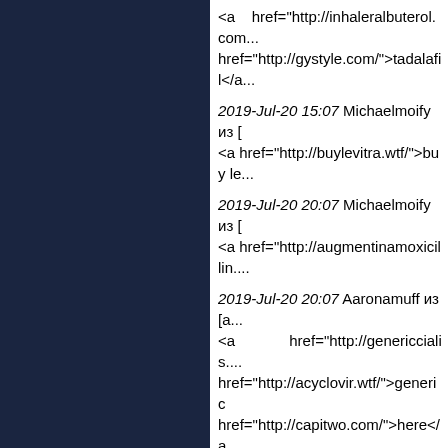<a href="http://inhaleralbuterol.com... href="http://gystyle.com/">tadalafil</a...
2019-Jul-20 15:07 Michaelmoify из [ <a href="http://buylevitra.wtf/">buy le...
2019-Jul-20 20:07 Michaelmoify из [ <a href="http://augmentinamoxicillin....
2019-Jul-20 20:07 Aaronamuff из [a... <a href="http://genericcialis.... href="http://acyclovir.wtf/">generic href="http://capitwo.com/">here</a> href="http://hydrochlorothiazide.wtf/"... href="http://wellbutrin365.us.org/">w...
2019-Jul-21 03:07 Aaronamuff из [ch... http://furosemide.wtf/ - furosemide
2019-Jul-21 04:07 Michaelmoify из [ <a href="http://diclofenac.run/">diclo...
2019-Jul-21 08:07 Stewartfaith из [c... <a href="http://sildenafil.irish/">silder...
2019-Jul-21 10:07 Michaelmoify из [